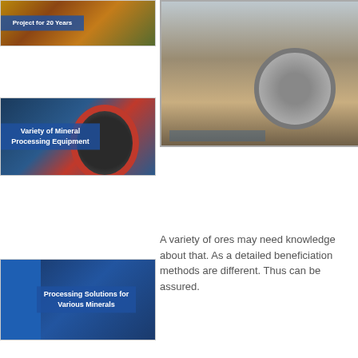[Figure (photo): Mining/industrial equipment with text overlay: Project for 20 Years]
[Figure (photo): Large red circular mineral processing equipment with text overlay: Variety of Mineral Processing Equipment]
[Figure (photo): Industrial conveyor/processing line with text overlay: Processing Solutions for Various Minerals]
[Figure (photo): Outdoor construction or mining site with large circular tank/thickener structure]
A variety of ores may need knowledge about that. As a detailed beneficiation methods are different. Thus can be assured.